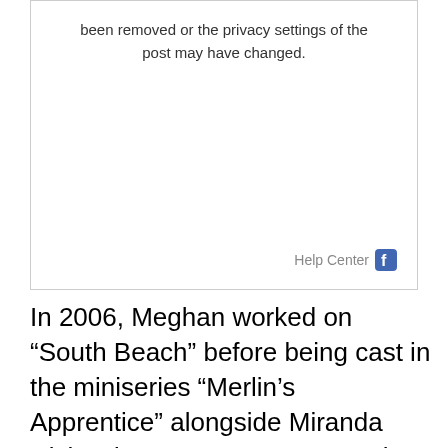[Figure (screenshot): Facebook screenshot box showing message about removed post or changed privacy settings, with Help Center link and Facebook icon]
In 2006, Meghan worked on “South Beach” before being cast in the miniseries “Merlin’s Apprentice” alongside Miranda Richardson, meant as a sequel to the 1998 miniseries entitled “Merlin” with most characters reprising their roles. She then had a role in the film “John Tucker Must Die”, which is a romantic comedy film following the story of girls who plot to break the heart of a manipulative basketball star. The following year, she was cast in “Blonde and Blonder” alongside Pamela Anderson and then had a guest role in an episode of “Flash Gordon”.